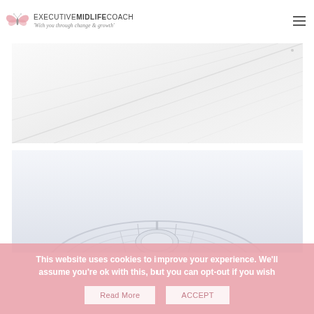EXECUTIVE MIDLIFE COACH - 'With you through change & growth'
[Figure (photo): Bright white architectural interior with diagonal lines, light and airy atmosphere]
[Figure (photo): Light blue-grey architectural exterior showing a curved modern building structure]
This website uses cookies to improve your experience. We'll assume you're ok with this, but you can opt-out if you wish
Read More   ACCEPT